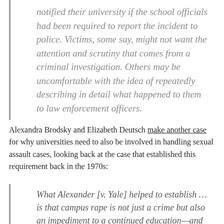notified their university if the school officials had been required to report the incident to police. Victims, some say, might not want the attention and scrutiny that comes from a criminal investigation. Others may be uncomfortable with the idea of repeatedly describing in detail what happened to them to law enforcement officers.
Alexandra Brodsky and Elizabeth Deutsch make another case for why universities need to also be involved in handling sexual assault cases, looking back at the case that established this requirement back in the 1970s:
What Alexander [v. Yale] helped to establish … is that campus rape is not just a crime but also an impediment to a continued education—and to